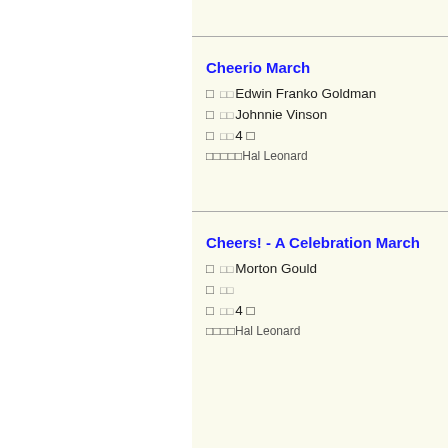Cheerio March
Composer: Edwin Franko Goldman
Arranger: Johnnie Vinson
Grade: 4
Publisher: Hal Leonard
Cheers! - A Celebration March
Composer: Morton Gould
Arranger:
Grade: 4
Publisher: Hal Leonard